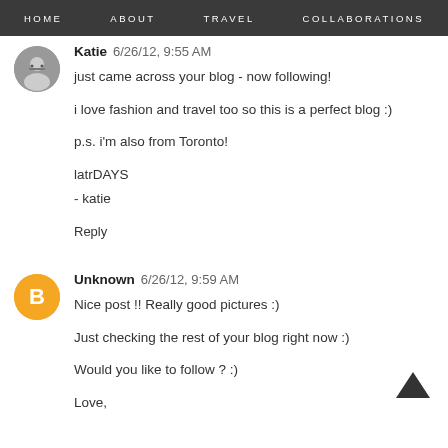HOME  ABOUT  TRAVEL  COLLABORATIONS
Katie  6/26/12, 9:55 AM
just came across your blog - now following!

i love fashion and travel too so this is a perfect blog :)

p.s. i'm also from Toronto!

latrDAYS
- katie

Reply
Unknown  6/26/12, 9:59 AM
Nice post !! Really good pictures :)

Just checking the rest of your blog right now :)

Would you like to follow ? :)

Love,